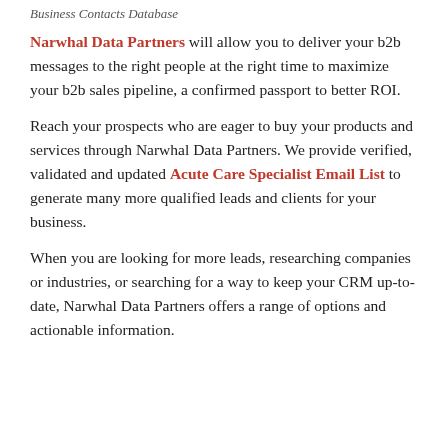Business Contacts Database
Narwhal Data Partners will allow you to deliver your b2b messages to the right people at the right time to maximize your b2b sales pipeline, a confirmed passport to better ROI.
Reach your prospects who are eager to buy your products and services through Narwhal Data Partners. We provide verified, validated and updated Acute Care Specialist Email List to generate many more qualified leads and clients for your business.
When you are looking for more leads, researching companies or industries, or searching for a way to keep your CRM up-to-date, Narwhal Data Partners offers a range of options and actionable information.